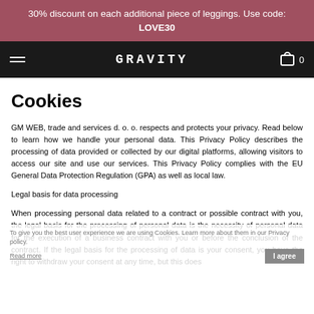30% discount on each additional piece of leggings. Use code: LOVE30
GRAVITY 0
Cookies
GM WEB, trade and services d. o. o. respects and protects your privacy. Read below to learn how we handle your personal data. This Privacy Policy describes the processing of data provided or collected by our digital platforms, allowing visitors to access our site and use our services. This Privacy Policy complies with the EU General Data Protection Regulation (GPA) as well as local law.
Legal basis for data processing
When processing personal data related to a contract or possible contract with you, the legal basis for the processing of personal data is the necessity of personal data for the execution of a business contract with you or before the conclusion of the contract. If the legal basis for the processing of data is your consent, you have the right to withdraw your consent at any time, but this does
To give you the best user experience we are using Cookies. Learn more about them in our Privacy policy. Read more
I agree